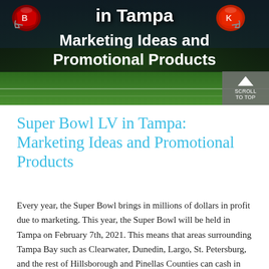[Figure (illustration): Hero banner image for Super Bowl LV in Tampa article. Football field background with two helmets (Buccaneers left, Chiefs right) flanking bold white text reading 'in Tampa / Marketing Ideas and Promotional Products' overlaid on a dark stadium/field scene.]
Super Bowl LV in Tampa: Marketing Ideas and Promotional Products
Every year, the Super Bowl brings in millions of dollars in profit due to marketing. This year, the Super Bowl will be held in Tampa on February 7th, 2021. This means that areas surrounding Tampa Bay such as Clearwater, Dunedin, Largo, St. Petersburg, and the rest of Hillsborough and Pinellas Counties can cash in